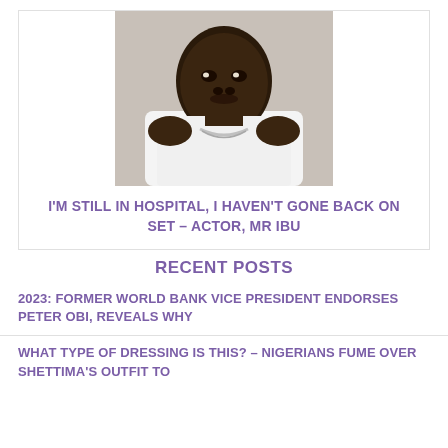[Figure (photo): Photo of a heavyset Black man wearing a white sleeveless tank top and a silver chain necklace, looking directly at camera with a serious expression, gray background]
I'M STILL IN HOSPITAL, I HAVEN'T GONE BACK ON SET – ACTOR, MR IBU
RECENT POSTS
2023: FORMER WORLD BANK VICE PRESIDENT ENDORSES PETER OBI, REVEALS WHY
WHAT TYPE OF DRESSING IS THIS? – NIGERIANS FUME OVER SHETTIMA'S OUTFIT TO